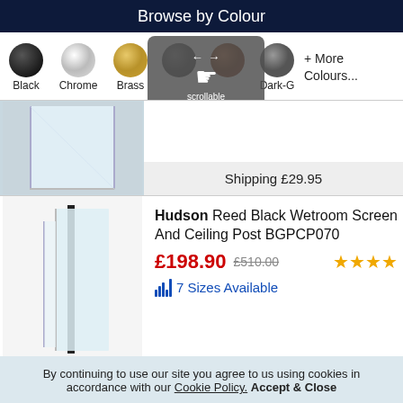Browse by Colour
[Figure (screenshot): Colour selector row with circles for Black, Chrome, Brass, Glass, Bronze, Dark-G colours and a scrollable overlay indicator, plus '+ More Colours...' text]
[Figure (photo): Wetroom shower screen product image - glass panel in bathroom setting]
Shipping £29.95
[Figure (photo): Hudson Reed Black Wetroom Screen And Ceiling Post product image - tall glass panel with black frame]
Hudson Reed Black Wetroom Screen And Ceiling Post BGPCP070
£198.90 £510.00
7 Sizes Available
By continuing to use our site you agree to us using cookies in accordance with our Cookie Policy. Accept & Close